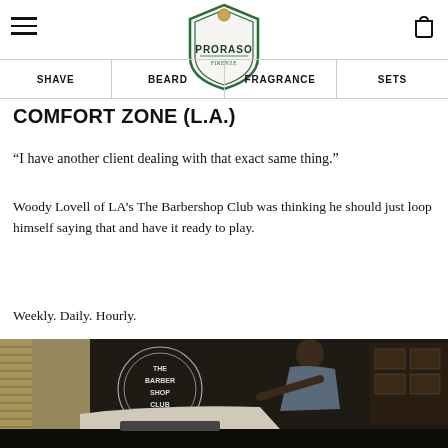PRORASO — Navigation: SHAVE | BEARD | FRAGRANCE | SETS
COMFORT ZONE (L.A.)
“I have another client dealing with that exact same thing.”
Woody Lovell of LA’s The Barbershop Club was thinking he should just loop himself saying that and have it ready to play.
Weekly. Daily. Hourly.
[Figure (photo): Photo of a barber working on a client inside The Barbershop Club in LA. The barber is leaning over the client. The barbershop logo is visible in the background window.]